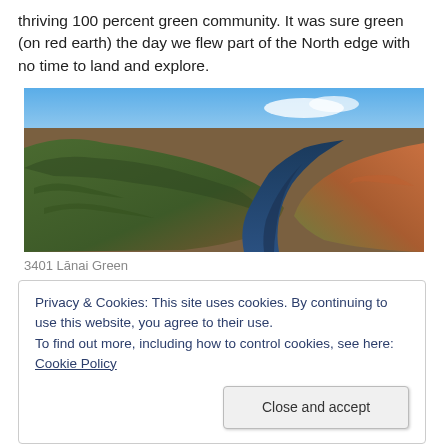thriving 100 percent green community. It was sure green (on red earth) the day we flew part of the North edge with no time to land and explore.
[Figure (photo): Aerial photograph of a river winding through red-earthed gorge terrain with green vegetation on both sides, under a blue sky.]
3401 Lānai Green
Privacy & Cookies: This site uses cookies. By continuing to use this website, you agree to their use. To find out more, including how to control cookies, see here: Cookie Policy